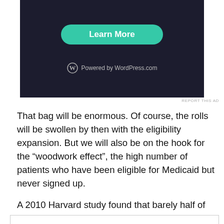[Figure (other): Dark-background advertisement banner with a teal 'Learn More' button and WordPress.com branding at the bottom]
REPORT THIS AD
That bag will be enormous. Of course, the rolls will be swollen by then with the eligibility expansion. But we will also be on the hook for the “woodwork effect”, the high number of patients who have been eligible for Medicaid but never signed up.
A 2010 Harvard study found that barely half of eligible
Privacy & Cookies: This site uses cookies. By continuing to use this website, you agree to their use.
To find out more, including how to control cookies, see here: Cookie Policy
Close and accept